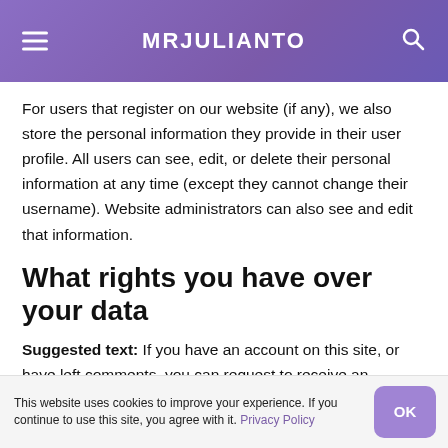MRJULIANTO
For users that register on our website (if any), we also store the personal information they provide in their user profile. All users can see, edit, or delete their personal information at any time (except they cannot change their username). Website administrators can also see and edit that information.
What rights you have over your data
Suggested text: If you have an account on this site, or have left comments, you can request to receive an
This website uses cookies to improve your experience. If you continue to use this site, you agree with it. Privacy Policy